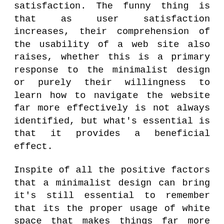satisfaction. The funny thing is that as user satisfaction increases, their comprehension of the usability of a web site also raises, whether this is a primary response to the minimalist design or purely their willingness to learn how to navigate the website far more effectively is not always identified, but what's essential is that it provides a beneficial effect.
Inspite of all the positive factors that a minimalist design can bring it's still essential to remember that its the proper usage of white space that makes things far more efficient. Implementing a minimalist design and having a lot of white space does not routinely signify a great web design. Like in many things, there is simply no clear cut solution. You'll need to consider all the specific text and points that really need to be on a internet page to find out exactly how you are able to make use of white space effectively.
Amongst the leading aspects to think about when choosing to go minimalist or not will be the desire feel